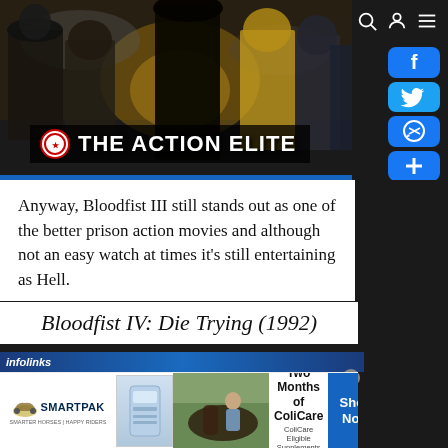[Figure (photo): The Action Elite website header banner with movie characters silhouettes and 'THE ACTION ELITE' text logo on dark background]
Anyway, Bloodfist III still stands out as one of the better prison action movies and although not an easy watch at times it's still entertaining as Hell.
Bloodfist IV: Die Trying (1992)
[Figure (screenshot): infolinks advertisement banner - SmartPak advertisement: 50% Off Two Months of ColiCare, ColiCare Eligible Supplements, CODE: COLICARE10, Shop Now button]